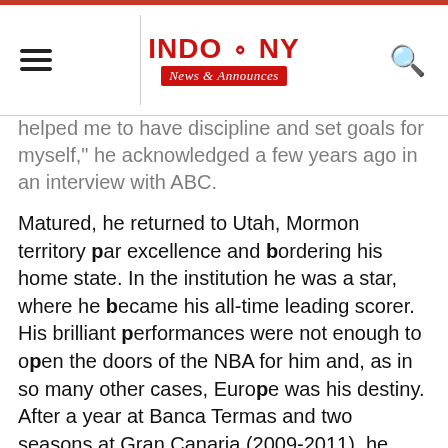INDO & NY News & Announces
helped me to have discipline and set goals for myself," he acknowledged a few years ago in an interview with ABC.
Matured, he returned to Utah, Mormon territory par excellence and bordering his home state. In the institution he was a star, where he became his all-time leading scorer. His brilliant performances were not enough to open the doors of the NBA for him and, as in so many other cases, Europe was his destiny. After a year at Banca Termas and two seasons at Gran Canaria (2009-2011), he found his place in the world. At Real Madrid he was glory, one of the most important players in the Pablo Laso project. Hundreds of memory baskets and exhibitions that decanted titles were building a